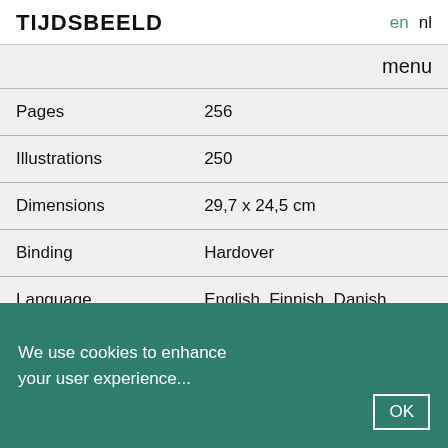TIJDSBEELD  en  nl
menu
| Pages | 256 |
| Illustrations | 250 |
| Dimensions | 29,7 x 24,5 cm |
| Binding | Hardover |
| Language | English, Finnish, Danish, Norwegian and German |
We use cookies to enhance your user experience...